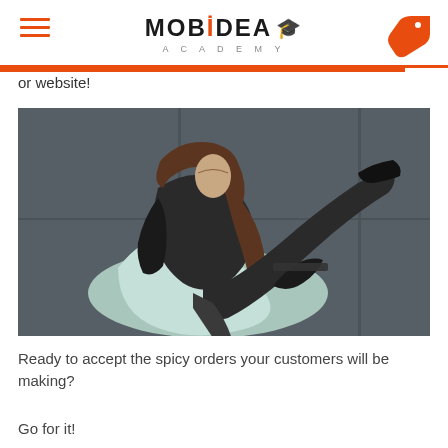MOBIDEA ACADEMY
or website!
[Figure (photo): A woman in black lace clothing and stockings posing in a modern chair against a dark wall background]
Ready to accept the spicy orders your customers will be making?
Go for it!